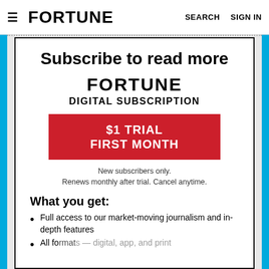FORTUNE   SEARCH   SIGN IN
Subscribe to read more
FORTUNE DIGITAL SUBSCRIPTION
$1 TRIAL FIRST MONTH
New subscribers only. Renews monthly after trial. Cancel anytime.
What you get:
Full access to our market-moving journalism and in-depth features
All formats — digital, app, and print